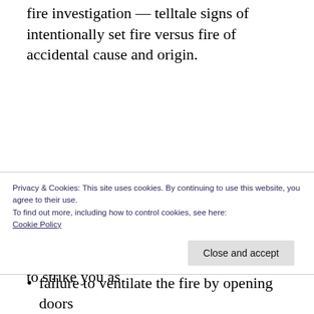fire investigation — telltale signs of intentionally set fire versus fire of accidental cause and origin.
The following mistakes have all occurred in cases I have handled, including one case in which all of the mistakes occurred in the same fire. Some of these are sure to strike you as
Privacy & Cookies: This site uses cookies. By continuing to use this website, you agree to their use.
To find out more, including how to control cookies, see here: Cookie Policy
failure to ventilate the fire by opening doors